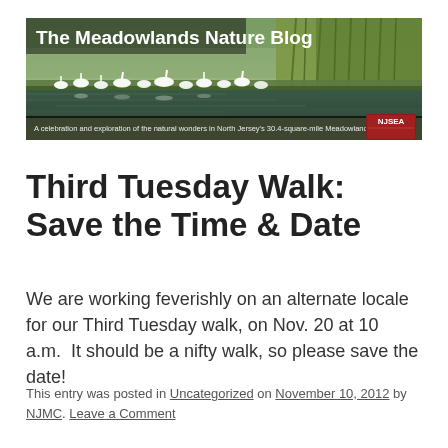[Figure (illustration): Banner image for The Meadowlands Nature Blog showing white birds (egrets/herons) along a marshy waterway with green reeds in the background. Text overlay reads 'The Meadowlands Nature Blog' in bold white. Bottom bar reads 'A celebration and exploration of the natural wonders in North Jersey's 30.4-square-mile Meadowlands District'. NJSEA logo in bottom right corner.]
Third Tuesday Walk: Save the Time & Date
We are working feverishly on an alternate locale for our Third Tuesday walk, on Nov. 20 at 10 a.m.  It should be a nifty walk, so please save the date!
This entry was posted in Uncategorized on November 10, 2012 by NJMC. Leave a Comment